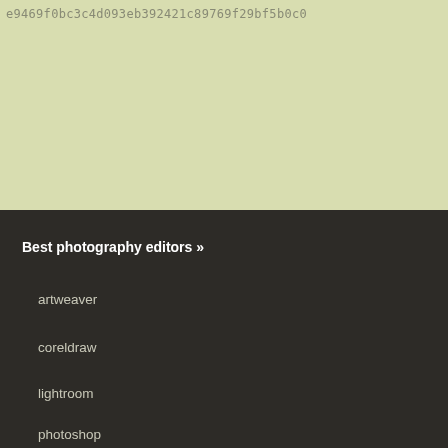e9469f0bc3c4d093eb392421c89769f29bf5b0c0
[Figure (other): Light yellow-green background area]
Best photography editors »
artweaver
coreldraw
lightroom
photoshop